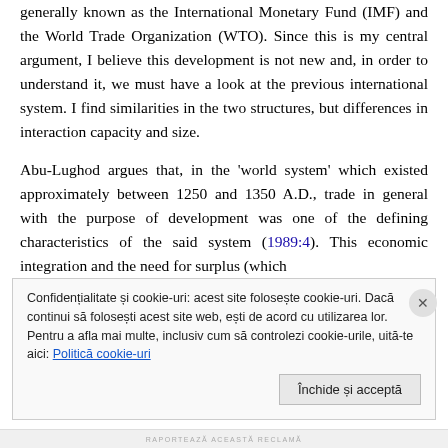generally known as the International Monetary Fund (IMF) and the World Trade Organization (WTO). Since this is my central argument, I believe this development is not new and, in order to understand it, we must have a look at the previous international system. I find similarities in the two structures, but differences in interaction capacity and size.
Abu-Lughod argues that, in the 'world system' which existed approximately between 1250 and 1350 A.D., trade in general with the purpose of development was one of the defining characteristics of the said system (1989:4). This economic integration and the need for surplus (which
Confidențialitate și cookie-uri: acest site folosește cookie-uri. Dacă continui să folosești acest site web, ești de acord cu utilizarea lor. Pentru a afla mai multe, inclusiv cum să controlezi cookie-urile, uită-te aici: Politică cookie-uri
Închide și acceptă
RAPORTEAZĂ ACEASTĂ RECLAMĂ